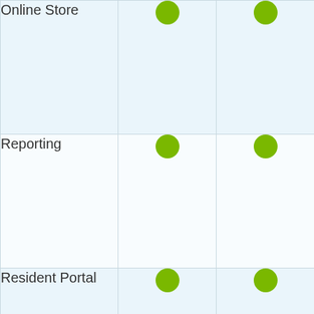| Feature | Column 1 | Column 2 |
| --- | --- | --- |
| Online Store | ● | ● |
| Reporting | ● | ● |
| Resident Portal | ● | ● |
| Service Requests/Work Orders | ● | ● |
| Surveys | ● | ● |